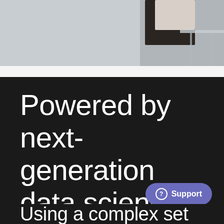[Figure (photo): Partial photo of a person sitting near a glass table, with dark clothing, cropped at top of page]
Powered by next-generation data science.
Using a complex set